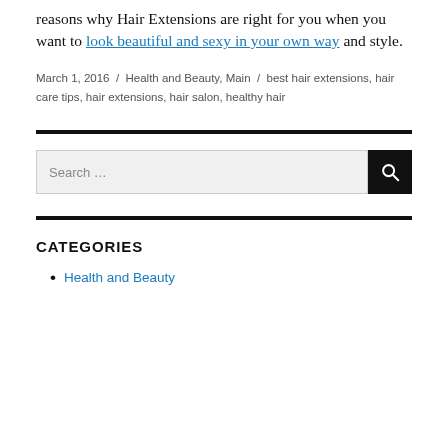reasons why Hair Extensions are right for you when you want to look beautiful and sexy in your own way and style.
March 1, 2016 / Health and Beauty, Main / best hair extensions, hair care tips, hair extensions, hair salon, healthy hair
[Figure (other): Search bar with text 'Search ...' and a black search button with magnifying glass icon]
CATEGORIES
Health and Beauty